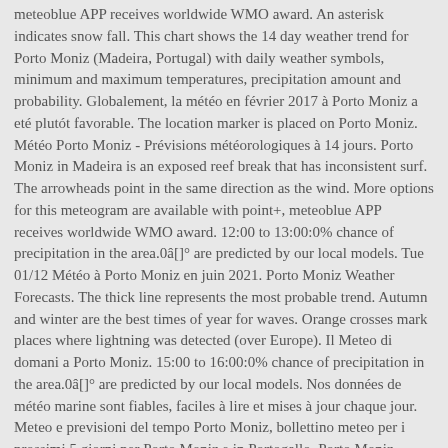meteoblue APP receives worldwide WMO award. An asterisk indicates snow fall. This chart shows the 14 day weather trend for Porto Moniz (Madeira, Portugal) with daily weather symbols, minimum and maximum temperatures, precipitation amount and probability. Globalement, la météo en février 2017 à Porto Moniz a eté plutót favorable. The location marker is placed on Porto Moniz. Météo Porto Moniz - Prévisions météorologiques à 14 jours. Porto Moniz in Madeira is an exposed reef break that has inconsistent surf. The arrowheads point in the same direction as the wind. More options for this meteogram are available with point+, meteoblue APP receives worldwide WMO award. 12:00 to 13:00:0% chance of precipitation in the area.0â[]° are predicted by our local models. Tue 01/12 Météo à Porto Moniz en juin 2021. Porto Moniz Weather Forecasts. The thick line represents the most probable trend. Autumn and winter are the best times of year for waves. Orange crosses mark places where lightning was detected (over Europe). Il Meteo di domani a Porto Moniz. 15:00 to 16:00:0% chance of precipitation in the area.0â[]° are predicted by our local models. Nos données de météo marine sont fiables, faciles à lire et mises à jour chaque jour. Meteo e previsioni del tempo Porto Moniz, bollettino meteo per i prossimi 5 giorni per Porto Moniz e in Portogallo. Porto Moniz detailed hourly weather forecast for tomorrow. freemeteo.com.pt Works best in offshore winds from